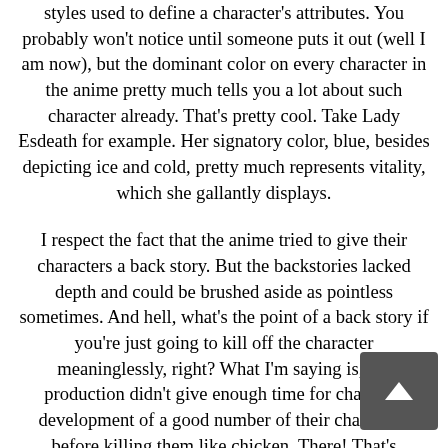styles used to define a character's attributes. You probably won't notice until someone puts it out (well I am now), but the dominant color on every character in the anime pretty much tells you a lot about such character already. That's pretty cool. Take Lady Esdeath for example. Her signatory color, blue, besides depicting ice and cold, pretty much represents vitality, which she gallantly displays.
I respect the fact that the anime tried to give their characters a back story. But the backstories lacked depth and could be brushed aside as pointless sometimes. And hell, what's the point of a back story if you're just going to kill off the character meaninglessly, right? What I'm saying is, the production didn't give enough time for character development of a good number of their characters before killing them like chicken. There! That's basically what makes most of the death meaningless and quite unnecessary.
Okay so, Akame Ga Kill centers on a corrupt government and